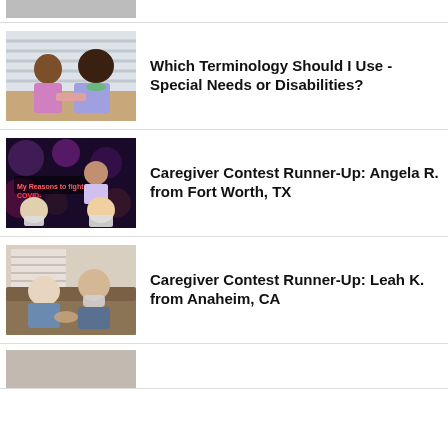[Figure (photo): Partial thumbnail image at top of page, cropped]
Which Terminology Should I Use - Special Needs or Disabilities?
[Figure (photo): Two women working together at a table]
Caregiver Contest Runner-Up: Angela R. from Fort Worth, TX
[Figure (photo): Collage with text My Reasons to fight COVID and people wearing masks]
Caregiver Contest Runner-Up: Leah K. from Anaheim, CA
[Figure (photo): Two women sitting on a couch, one wearing a mask]
[Figure (photo): Partial thumbnail at bottom, cropped]